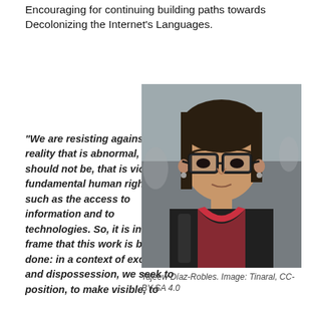Encouraging for continuing building paths towards Decolonizing the Internet's Languages.
“We are resisting against a reality that is abnormal, which should not be, that is violating fundamental human rights, such as the access to information and to technologies. So, it is in this frame that this work is being done: in a context of exclusion and dispossession, we seek to position, to make visible, to
[Figure (photo): Portrait photo of Tajeew Díaz-Robles, a young woman with dark hair and glasses, wearing a red/pink jacket, with a blurred crowd in the background.]
Tajeew Díaz-Robles. Image: Tinaral, CC-BY-SA 4.0